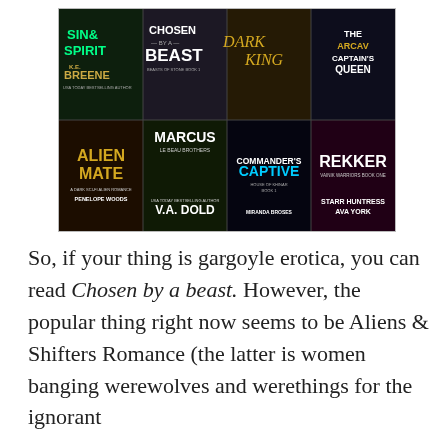[Figure (illustration): A 2x4 grid of romance novel book covers including: Sin & Spirit by K.E. Breene, Chosen by a Beast (Beasts of Stone Book 1), Dark King, The Arcav Captain's Queen, Alien Mate by Penelope Woods (A Dark Sci-Fi Alien Romance), Marcus (Le Beau Brothers) by V.A. Dold, Commander's Captive (House of Khinar Book 1) by Miranda Broses, and Rekker (Vainik Warriors Book One) by Starr Huntress & Ava York.]
So, if your thing is gargoyle erotica, you can read Chosen by a beast. However, the popular thing right now seems to be Aliens & Shifters Romance (the latter is women banging werewolves and werethings for the ignorant